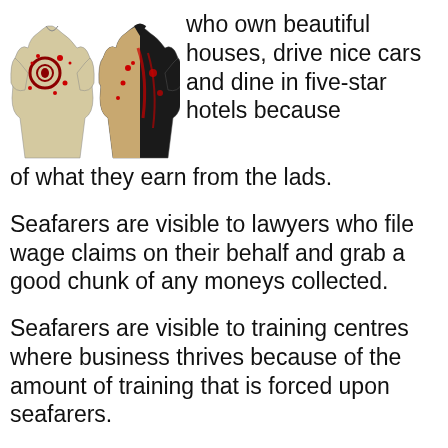[Figure (illustration): Two illustrated shirts/jerseys with decorative patterns in red, black and cream/tan colors]
who own beautiful houses, drive nice cars and dine in five-star hotels because of what they earn from the lads.
Seafarers are visible to lawyers who file wage claims on their behalf and grab a good chunk of any moneys collected.
Seafarers are visible to training centres where business thrives because of the amount of training that is forced upon seafarers.
Seafarers are visible to government people who issue them their certificates